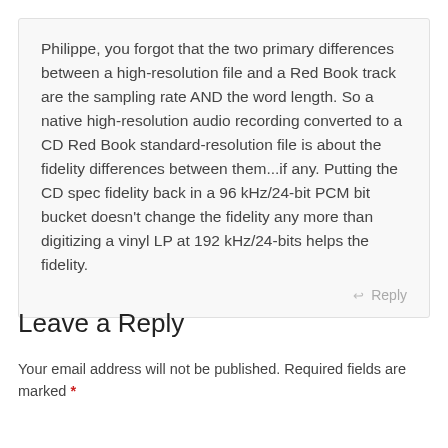Philippe, you forgot that the two primary differences between a high-resolution file and a Red Book track are the sampling rate AND the word length. So a native high-resolution audio recording converted to a CD Red Book standard-resolution file is about the fidelity differences between them...if any. Putting the CD spec fidelity back in a 96 kHz/24-bit PCM bit bucket doesn't change the fidelity any more than digitizing a vinyl LP at 192 kHz/24-bits helps the fidelity.
Leave a Reply
Your email address will not be published. Required fields are marked *